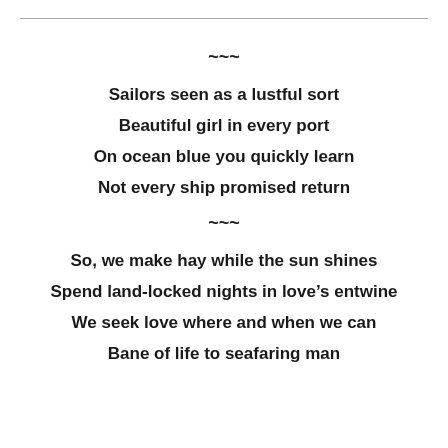~~~
Sailors seen as a lustful sort
Beautiful girl in every port
On ocean blue you quickly learn
Not every ship promised return
~~~
So, we make hay while the sun shines
Spend land-locked nights in love's entwine
We seek love where and when we can
Bane of life to seafaring man